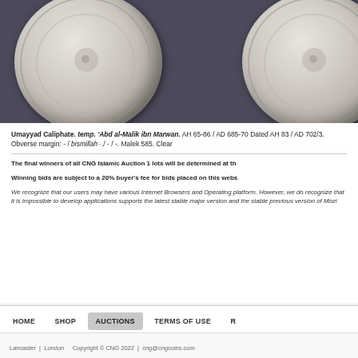[Figure (photo): Two silver Umayyad Caliphate coins photographed against a dark gray background, showing obverse and reverse sides with Arabic inscriptions and decorative patterns]
Umayyad Caliphate. temp. 'Abd al-Malik ibn Marwan. AH 65-86 / AD 685-70 Dated AH 83 / AD 702/3. Obverse margin: - / bismillah ·./ - / -. Malek 585. Clear
The final winners of all CNG Islamic Auction 1 lots will be determined at th
Winning bids are subject to a 20% buyer's fee for bids placed on this webs
We recognize that our users may have various Internet Browsers and Operating platform. However, we do recognize that it is impossible to develop applications supports the latest stable major version and the stable previous version of Mozi
HOME   SHOP   AUCTIONS   TERMS OF USE   R
Lancaster  |  London    Copyright © CNG 2022  |  cng@cngcoins.com